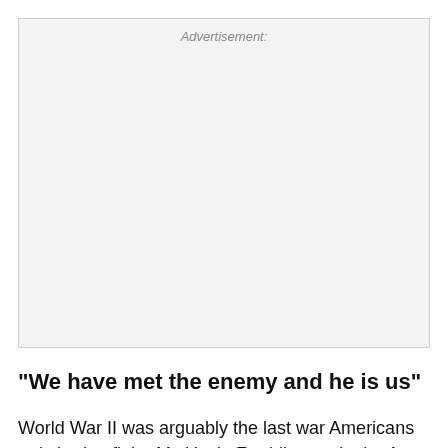[Figure (other): Advertisement placeholder box with label 'Advertisement:' at the top center]
"We have met the enemy and he is us"
World War II was arguably the last war Americans truly had to fight. My Uncle Freddie was in the Army and